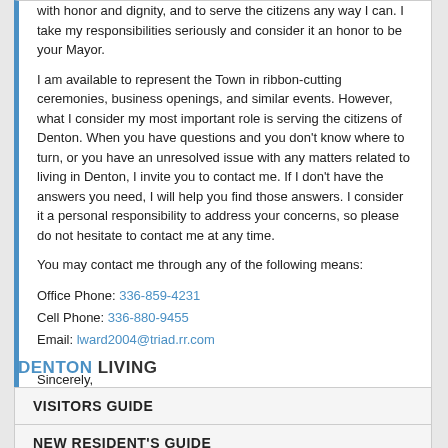with honor and dignity, and to serve the citizens any way I can. I take my responsibilities seriously and consider it an honor to be your Mayor.
I am available to represent the Town in ribbon-cutting ceremonies, business openings, and similar events. However, what I consider my most important role is serving the citizens of Denton. When you have questions and you don't know where to turn, or you have an unresolved issue with any matters related to living in Denton, I invite you to contact me. If I don't have the answers you need, I will help you find those answers. I consider it a personal responsibility to address your concerns, so please do not hesitate to contact me at any time.
You may contact me through any of the following means:
Office Phone: 336-859-4231
Cell Phone: 336-880-9455
Email: lward2004@triad.rr.com
Sincerely,
Larry Ward
Mayor
DENTON LIVING
VISITORS GUIDE
NEW RESIDENT'S GUIDE